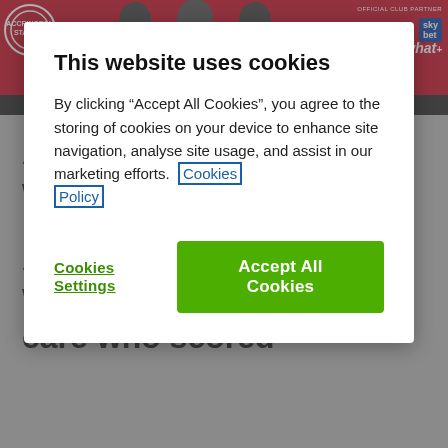[Figure (screenshot): Red football club website header banner with club crest logo on left, three men (coaches/players) in dark clothing in center, 'OFFICIAL CLUB PARTNER' text and Sky Bet logo on right]
This website uses cookies
By clicking “Accept All Cookies”, you agree to the storing of cookies on your device to enhance site navigation, analyse site usage, and assist in our marketing efforts.   Cookies Policy
Cookies Settings
Accept All Cookies
Adam Buxton admitted it was a shock to see Mark Hughes celebrating Stanley's winner at Wycombe – be he didn't care who scored